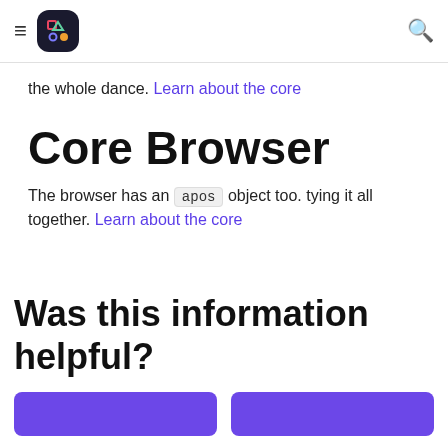≡ [logo] Q
the whole dance. Learn about the core
Core Browser
The browser has an apos object too. tying it all together. Learn about the core
Was this information helpful?